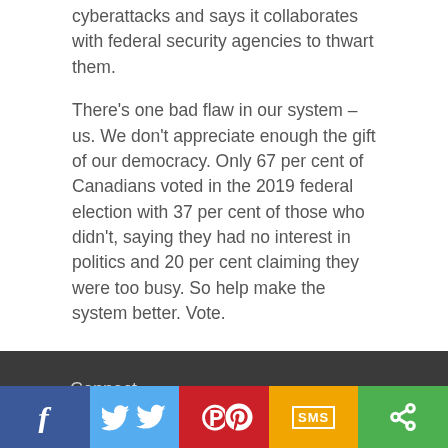cyberattacks and says it collaborates with federal security agencies to thwart them.
There's one bad flaw in our system – us. We don't appreciate enough the gift of our democracy. Only 67 per cent of Canadians voted in the 2019 federal election with 37 per cent of those who didn't, saying they had no interest in politics and 20 per cent claiming they were too busy. So help make the system better. Vote.
Connect
[Figure (logo): The Citizen newspaper logo in white text on dark background]
[Figure (infographic): Social media sharing bar with Facebook (blue), Twitter (light blue), Pinterest (red), SMS (yellow/orange), and Share (green) buttons]